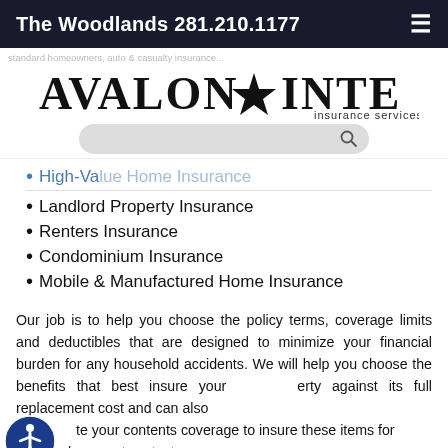The Woodlands 281.210.1177
[Figure (logo): Avalon Integra Insurance Services logo with star emblem]
High-Va[lue Home Insurance]
Landlord Property Insurance
Renters Insurance
Condominium Insurance
Mobile & Manufactured Home Insurance
Our job is to help you choose the policy terms, coverage limits and deductibles that are designed to minimize your financial burden for any household accidents. We will help you choose the benefits that best insure your property against its full replacement cost and can also update your contents coverage to insure these items for their replacement costs, too.